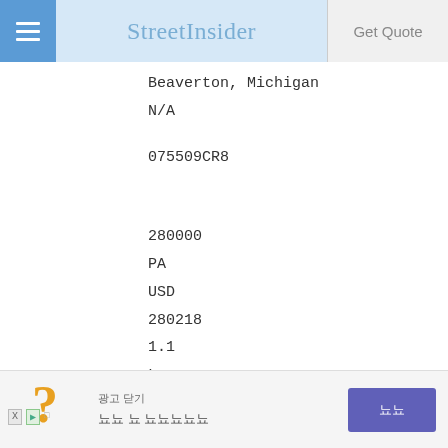StreetInsider
Beaverton, Michigan
N/A
075509CR8
280000
PA
USD
280218
1.1
Long
DBT
MUN
US
N
2